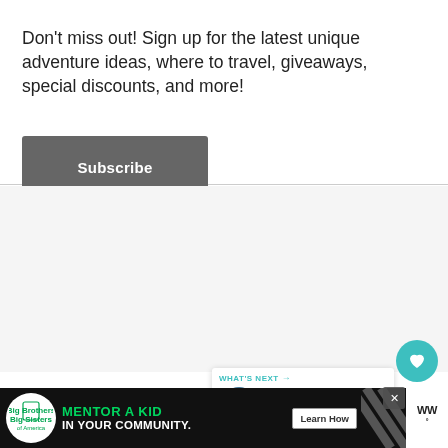Don't miss out! Sign up for the latest unique adventure ideas, where to travel, giveaways, special discounts, and more!
Subscribe
[Figure (screenshot): Gray content area below the popup subscription bar]
[Figure (infographic): Teal circular heart/favorite button]
[Figure (infographic): White circular share button with share icon]
WHAT'S NEXT → Racing Adventure a...
[Figure (screenshot): Ad banner: Big Brothers Big Sisters - Mentor a Kid in Your Community. Learn How button.]